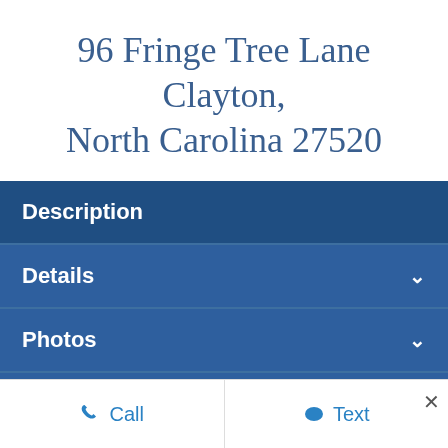96 Fringe Tree Lane Clayton, North Carolina 27520
Description
Details
Photos
Contact